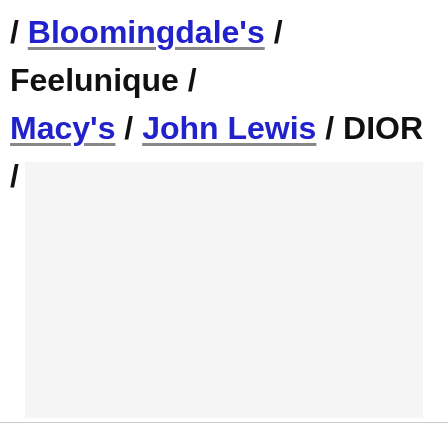/ Bloomingdale's / Feelunique / Macy's / John Lewis / DIOR / Escentual
[Figure (other): Light gray rectangular placeholder/image area]